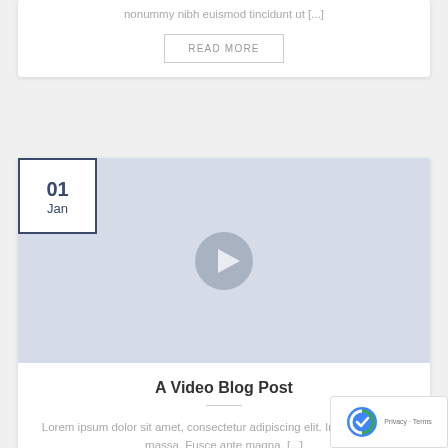nonummy nibh euismod tincidunt ut [...]
READ MORE
01 Jan
[Figure (screenshot): Video thumbnail placeholder with play button on blue-grey background]
A Video Blog Post
Lorem ipsum dolor sit amet, consectetur adipiscing elit. In sed vulputate massa. Fusce ante magna, [...]
READ MORE